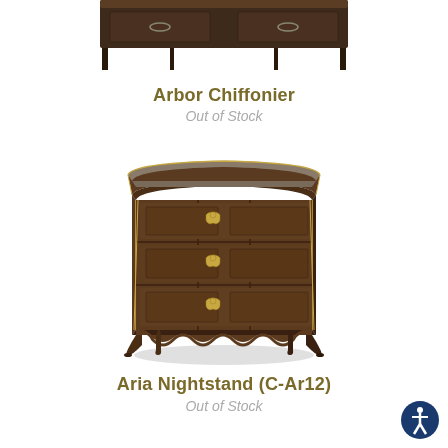[Figure (photo): Partial image of a dark wood dresser/chiffonier with metal legs, cropped at top]
Arbor Chiffonier
Out of Stock
[Figure (photo): Aria Nightstand (C-Ar12) — a dark walnut three-drawer nightstand with ornate gold handles and carved cabriole legs with scalloped apron]
Aria Nightstand (C-Ar12)
Out of Stock